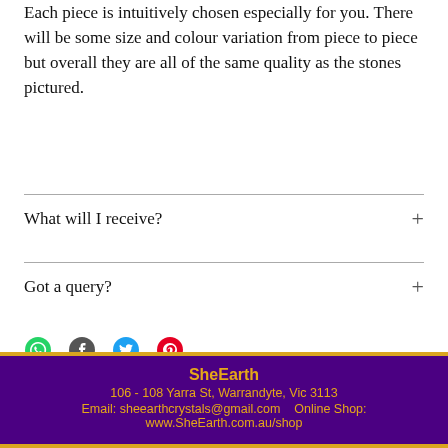Each piece is intuitively chosen especially for you. There will be some size and colour variation from piece to piece but overall they are all of the same quality as the stones pictured.
What will I receive?
Got a query?
[Figure (infographic): Social share icons: WhatsApp (green), Facebook (dark grey), Twitter (blue), Pinterest (red/pink)]
SheEarth 106 - 108 Yarra St, Warrandyte, Vic 3113 Email: sheearthcrystals@gmail.com   Online Shop: www.SheEarth.com.au/shop